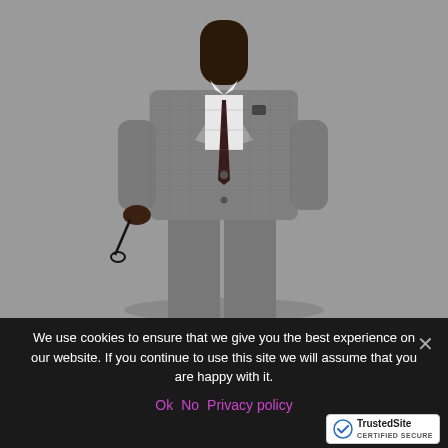[Figure (photo): A man wearing a grey plaid suit with a white shirt and dark tie, holding sunglasses, standing against a grey background. Fashion/retail product photography.]
We use cookies to ensure that we give you the best experience on our website. If you continue to use this site we will assume that you are happy with it.
Ok   No   Privacy policy
[Figure (logo): TrustedSite CERTIFIED SECURE badge with checkmark icon]